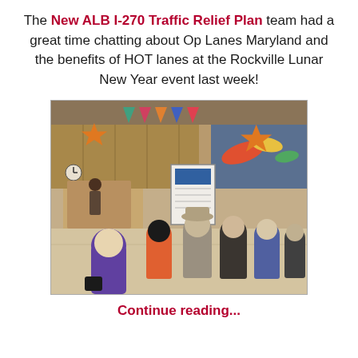The New ALB I-270 Traffic Relief Plan team had a great time chatting about Op Lanes Maryland and the benefits of HOT lanes at the Rockville Lunar New Year event last week!
[Figure (photo): Indoor event photo showing people gathered around a display board in a public building lobby decorated with colorful Lunar New Year star and triangle bunting. Several attendees stand with backs to camera looking at a map/poster board. Orange, teal, and red decorations hang from the ceiling.]
Continue reading...